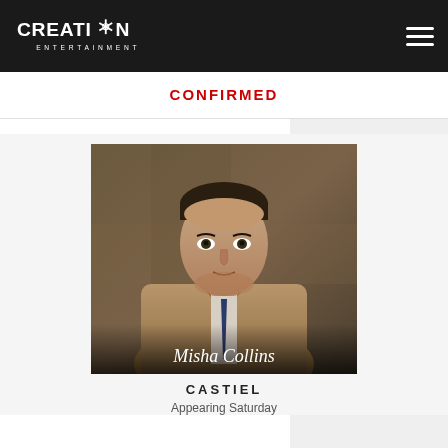Creation Entertainment
CONFIRMED
[Figure (photo): Photo of Misha Collins as Castiel, wearing a tan trench coat and dark tie, with 'Misha Collins' text overlaid at the bottom of the image]
CASTIEL
Appearing Saturday